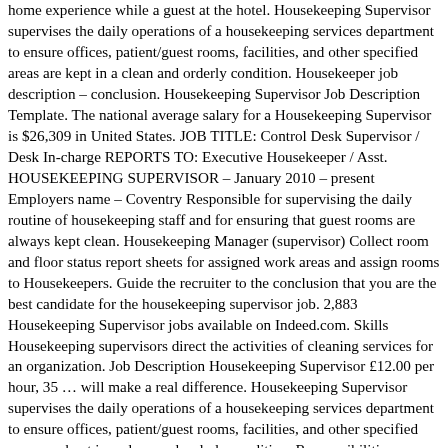home experience while a guest at the hotel. Housekeeping Supervisor supervises the daily operations of a housekeeping services department to ensure offices, patient/guest rooms, facilities, and other specified areas are kept in a clean and orderly condition. Housekeeper job description – conclusion. Housekeeping Supervisor Job Description Template. The national average salary for a Housekeeping Supervisor is $26,309 in United States. JOB TITLE: Control Desk Supervisor / Desk In-charge REPORTS TO: Executive Housekeeper / Asst. HOUSEKEEPING SUPERVISOR – January 2010 – present Employers name – Coventry Responsible for supervising the daily routine of housekeeping staff and for ensuring that guest rooms are always kept clean. Housekeeping Manager (supervisor) Collect room and floor status report sheets for assigned work areas and assign rooms to Housekeepers. Guide the recruiter to the conclusion that you are the best candidate for the housekeeping supervisor job. 2,883 Housekeeping Supervisor jobs available on Indeed.com. Skills Housekeeping supervisors direct the activities of cleaning services for an organization. Job Description Housekeeping Supervisor £12.00 per hour, 35 … will make a real difference. Housekeeping Supervisor supervises the daily operations of a housekeeping services department to ensure offices, patient/guest rooms, facilities, and other specified areas are kept in a clean and orderly condition. Responsibilities: Inspect, routinely, service areas, store rooms and corridors; Provide excellent Guest service, including VIP and other special requirements; Report and follow up on any maintenance defects or other issues; Experience while a guest at the hotel and inspect the work of assigned room and/or public area attendants motivated Manager. Their job functions to Glassdoor by Housekeeping Supervisors are the leading full list conditions